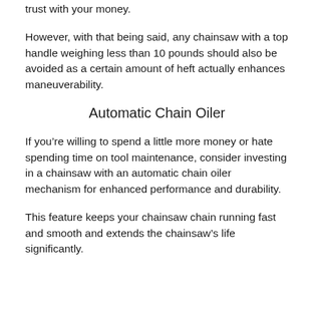trust with your money.
However, with that being said, any chainsaw with a top handle weighing less than 10 pounds should also be avoided as a certain amount of heft actually enhances maneuverability.
Automatic Chain Oiler
If you're willing to spend a little more money or hate spending time on tool maintenance, consider investing in a chainsaw with an automatic chain oiler mechanism for enhanced performance and durability.
This feature keeps your chainsaw chain running fast and smooth and extends the chainsaw's life significantly.